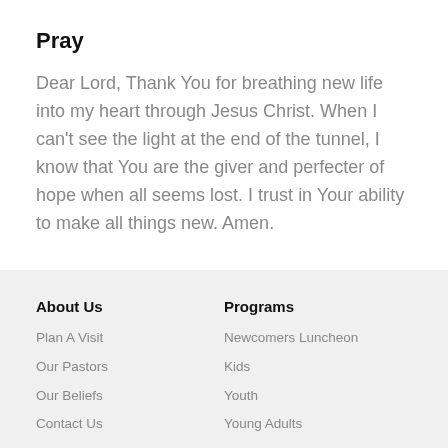Pray
Dear Lord, Thank You for breathing new life into my heart through Jesus Christ. When I can't see the light at the end of the tunnel, I know that You are the giver and perfecter of hope when all seems lost. I trust in Your ability to make all things new. Amen.
About Us
Programs
Plan A Visit
Our Pastors
Our Beliefs
Contact Us
Careers
Newcomers Luncheon
Kids
Youth
Young Adults
Family
Married